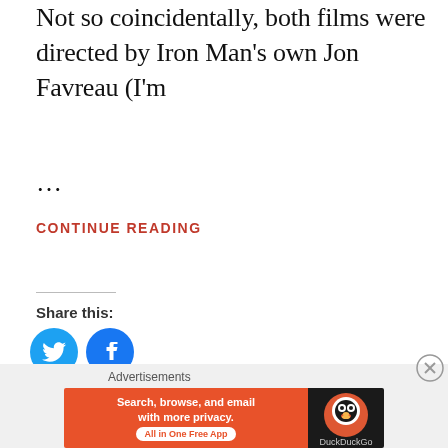Not so coincidentally, both films were directed by Iron Man's own Jon Favreau (I'm ...
CONTINUE READING
Share this:
[Figure (illustration): Twitter and Facebook share icon buttons (circles with bird and f logos)]
[Figure (illustration): Like button with star icon, and two blogger avatar thumbnails]
2 bloggers like this.
[Figure (illustration): DuckDuckGo advertisement banner: 'Search, browse, and email with more privacy. All in One Free App' with DuckDuckGo logo]